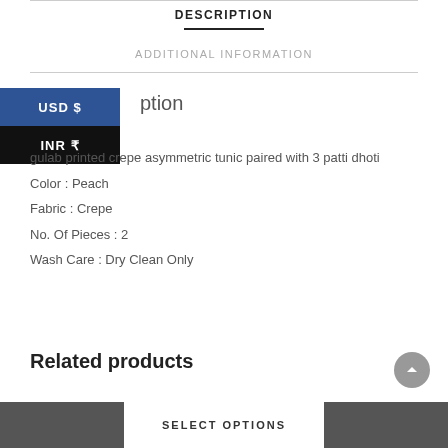DESCRIPTION
ADDITIONAL INFORMATION
USD $
INR ₹
Description
gulab printed crepe asymmetric tunic paired with 3 patti dhoti
Color : Peach
Fabric : Crepe
No. Of Pieces : 2
Wash Care : Dry Clean Only
Related products
SELECT OPTIONS